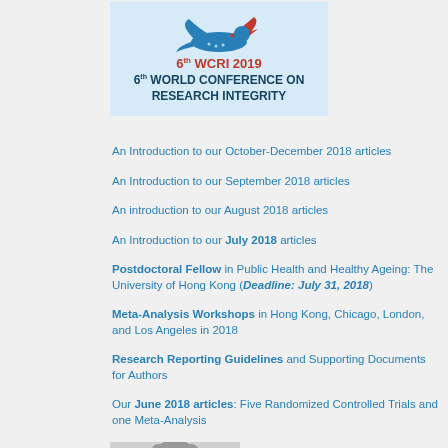[Figure (logo): 6th WCRI 2019 - 6th World Conference on Research Integrity logo with bird graphic on light blue background]
An Introduction to our October-December 2018 articles
An Introduction to our September 2018 articles
An introduction to our August 2018 articles
An Introduction to our July 2018 articles
Postdoctoral Fellow in Public Health and Healthy Ageing: The University of Hong Kong (Deadline: July 31, 2018)
Meta-Analysis Workshops in Hong Kong, Chicago, London, and Los Angeles in 2018
Research Reporting Guidelines and Supporting Documents for Authors
Our June 2018 articles: Five Randomized Controlled Trials and one Meta-Analysis
[Figure (photo): Black and white photo of a person (head/shoulders visible at bottom of page)]